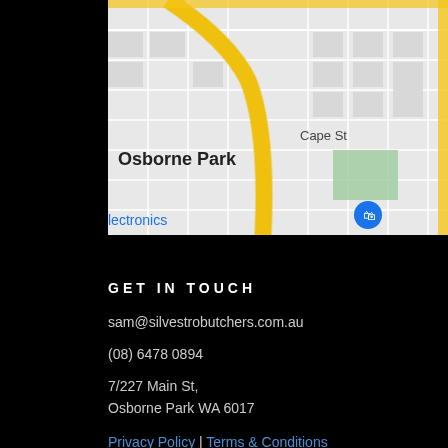[Figure (map): Google Maps screenshot showing Osborne Park area with street grid, Cape St label, green park area, and yellow road. Shows 'Osborne Park' text, 'Cape St' label, 'lectronics' text with shopping bag icon visible at bottom left.]
GET IN TOUCH
sam@silvestrobutchers.com.au
(08) 6478 0894
7/227 Main St,
Osborne Park WA 6017
Privacy Policy | Terms & Conditions
VISIT US